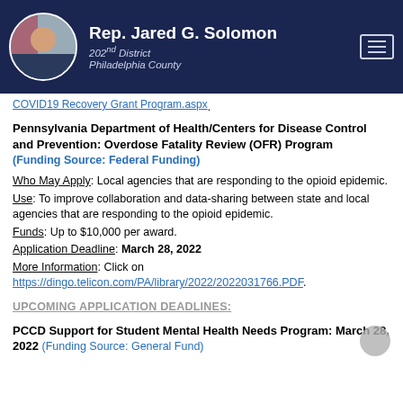Rep. Jared G. Solomon, 202nd District, Philadelphia County
COVID19 Recovery Grant Program.aspx.
Pennsylvania Department of Health/Centers for Disease Control and Prevention: Overdose Fatality Review (OFR) Program
(Funding Source: Federal Funding)
Who May Apply: Local agencies that are responding to the opioid epidemic.
Use: To improve collaboration and data-sharing between state and local agencies that are responding to the opioid epidemic.
Funds: Up to $10,000 per award.
Application Deadline: March 28, 2022
More Information: Click on https://dingo.telicon.com/PA/library/2022/2022031766.PDF.
UPCOMING APPLICATION DEADLINES:
PCCD Support for Student Mental Health Needs Program: March 28, 2022  (Funding Source: General Fund)